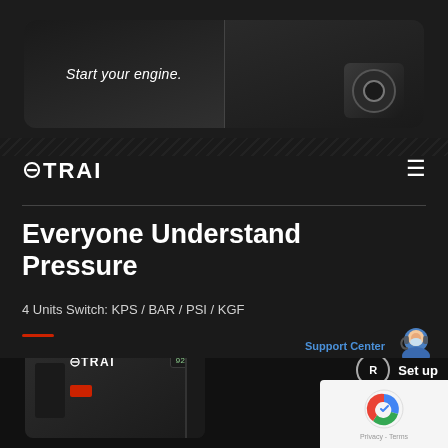[Figure (photo): Top image showing a hand pressing a car engine start button, split into two panels on dark background with rounded corners]
Start your engine.
[Figure (logo): UTRAI brand logo in white text on dark background]
[Figure (infographic): Hamburger menu icon on right side of navigation bar]
Everyone Understand Pressure
4 Units Switch: KPS / BAR / PSI / KGF
[Figure (illustration): Red horizontal dash/line decorative element]
[Figure (illustration): Support Center button with customer service avatar icon in blue text]
[Figure (photo): UTRAI portable jump starter device with display showing 92, and a red button visible, with circular control buttons on the right showing R and minus symbols with Set up and re... labels]